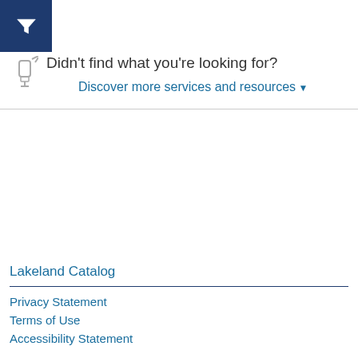[Figure (other): Dark blue square with white filter/funnel icon in top-left corner]
Didn't find what you're looking for?
Discover more services and resources ▼
Lakeland Catalog
Privacy Statement
Terms of Use
Accessibility Statement
Powered by BiblioCommons.
NERF:nerf02 Version 9.9.0@a778b0e Last updated 2022/08/15 14:29 Built 2022/08/11 18:36